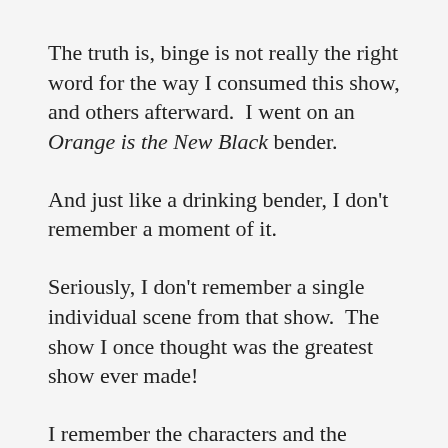The truth is, binge is not really the right word for the way I consumed this show, and others afterward.  I went on an Orange is the New Black bender.
And just like a drinking bender, I don’t remember a moment of it.
Seriously, I don’t remember a single individual scene from that show.  The show I once thought was the greatest show ever made!
I remember the characters and the actors who played them, but they’re not in my heart.
I tried to figure out exactly when I stopped